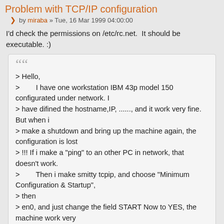Problem with TCP/IP configuration
by miraba » Tue, 16 Mar 1999 04:00:00
I'd check the permissions on /etc/rc.net.  It should be executable. :)
““
> Hello,
>        I have one workstation IBM 43p model 150 configurated under network. I
> have difined the hostname,IP, ......, and it work very fine. But when i
> make a shutdown and bring up the machine again, the configuration is lost
> !!! If i make a "ping" to an other PC in network, that doesn't work.
>        Then i make smitty tcpip, and choose "Minimum Configuration & Startup",
> then
> en0, and just change the field START Now to YES, the machine work very
> nice. If i reboot, i have the same problem.
>        If i try to make this changes in CDE, the system crash !!! So i have to
> make this changes under console.
>        When the system is comming up, i see he is loading the TCP/IP demons,  but